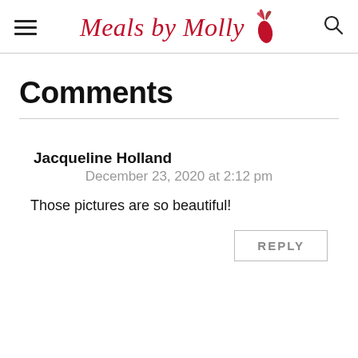Meals by Molly
Comments
Jacqueline Holland
December 23, 2020 at 2:12 pm
Those pictures are so beautiful!
REPLY